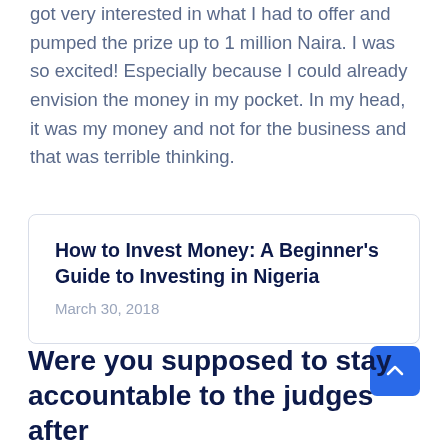got very interested in what I had to offer and pumped the prize up to 1 million Naira. I was so excited! Especially because I could already envision the money in my pocket. In my head, it was my money and not for the business and that was terrible thinking.
[Figure (other): Card with link title 'How to Invest Money: A Beginner’s Guide to Investing in Nigeria' and date 'March 30, 2018']
Were you supposed to stay accountable to the judges after